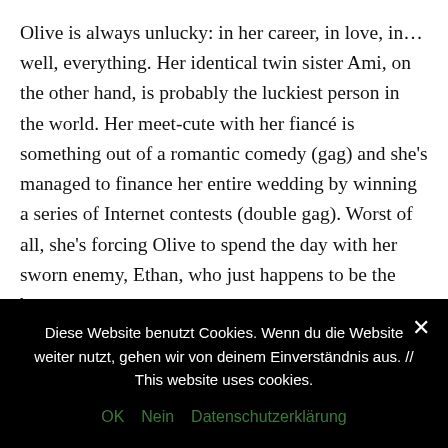Olive is always unlucky: in her career, in love, in…well, everything. Her identical twin sister Ami, on the other hand, is probably the luckiest person in the world. Her meet-cute with her fiancé is something out of a romantic comedy (gag) and she's managed to finance her entire wedding by winning a series of Internet contests (double gag). Worst of all, she's forcing Olive to spend the day with her sworn enemy, Ethan, who just happens to be the best man.
Olive braces herself to get through 24 hours of wedding hell before she can return to her comfortable, unlucky life. But when the entire wedding party gets food poisoning from eating
Diese Website benutzt Cookies. Wenn du die Website weiter nutzt, gehen wir von deinem Einverständnis aus. // This website uses cookies.
OK   Nein   Datenschutzerklärung